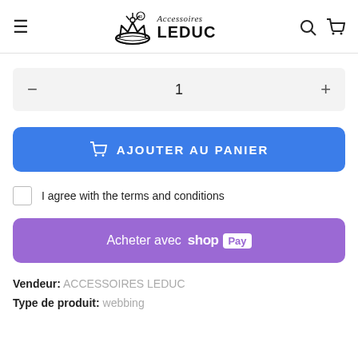Accessoires LEDUC
1
AJOUTER AU PANIER
I agree with the terms and conditions
Acheter avec shop Pay
Vendeur: ACCESSOIRES LEDUC
Type de produit: webbing